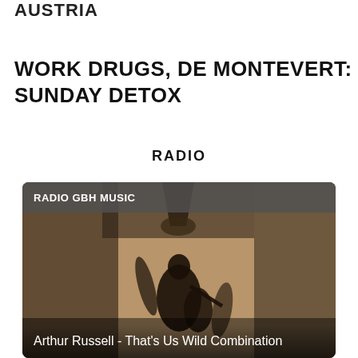AUSTRIA
WORK DRUGS, DE MONTEVERT: SUNDAY DETOX
RADIO
[Figure (photo): A dark artistic photo of a musician silhouette with an instrument, warm beige background, with overlay card showing RADIO GBH MUSIC label and caption 'Arthur Russell - That's Us Wild Combination']
Arthur Russell - That's Us Wild Combination